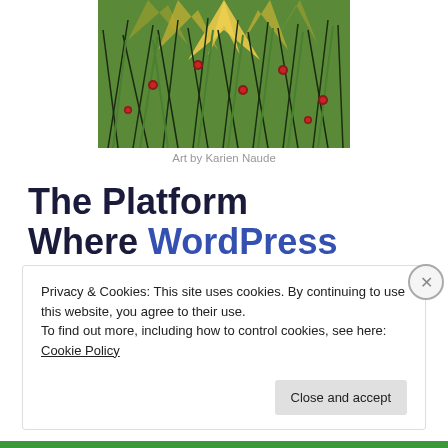[Figure (illustration): Decorative art illustration showing green grass/reeds with small red flowers and a yellow sunburst background, by Karien Naude]
Art by Karien Naude
The Platform Where WordPress Works Best
Privacy & Cookies: This site uses cookies. By continuing to use this website, you agree to their use.
To find out more, including how to control cookies, see here: Cookie Policy
Close and accept